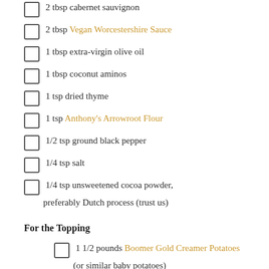2 tbsp cabernet sauvignon
2 tbsp Vegan Worcestershire Sauce
1 tbsp extra-virgin olive oil
1 tbsp coconut aminos
1 tsp dried thyme
1 tsp Anthony's Arrowroot Flour
1/2 tsp ground black pepper
1/4 tsp salt
1/4 tsp unsweetened cocoa powder, preferably Dutch process (trust us)
For the Topping
1 1/2 pounds Boomer Gold Creamer Potatoes (or similar baby potatoes)
1/4 cup Daiya Cheddar Style Shreds (vegan cheddar)
2 tbsp unsweetened, plain almond milk,